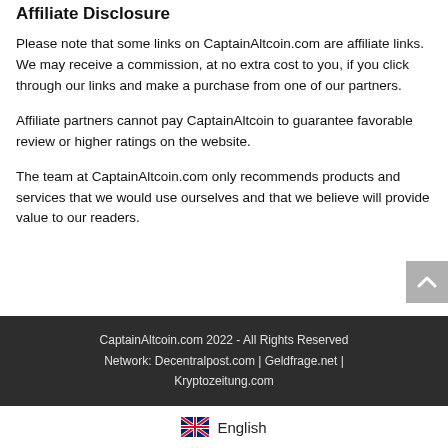Affiliate Disclosure
Please note that some links on CaptainAltcoin.com are affiliate links. We may receive a commission, at no extra cost to you, if you click through our links and make a purchase from one of our partners.
Affiliate partners cannot pay CaptainAltcoin to guarantee favorable review or higher ratings on the website.
The team at CaptainAltcoin.com only recommends products and services that we would use ourselves and that we believe will provide value to our readers.
CaptainAltcoin.com 2022 - All Rights Reserved
Network: Decentralpost.com | Geldfrage.net | Kryptozeitung.com
English